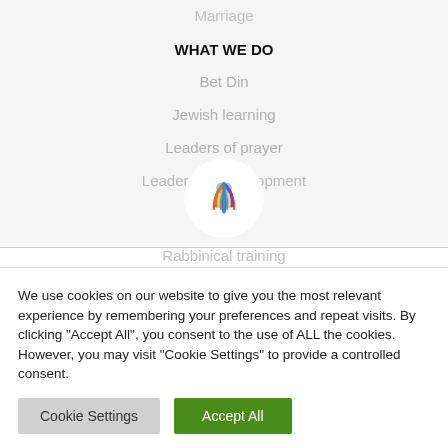Marriage
WHAT WE DO
Bet Din
Jewish learning
Leaders of prayer
Leadership development
[Figure (logo): Colorful logo mark in a white circle]
Rabbinical training
We use cookies on our website to give you the most relevant experience by remembering your preferences and repeat visits. By clicking "Accept All", you consent to the use of ALL the cookies. However, you may visit "Cookie Settings" to provide a controlled consent.
Cookie Settings | Accept All